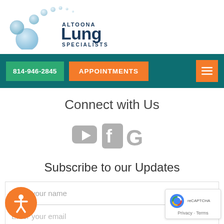[Figure (logo): Altoona Lung Specialists logo with blue bubble/circle graphic and text 'ALTOONA Lung SPECIALISTS']
814-946-2845   APPOINTMENTS
Connect with Us
[Figure (infographic): Three social media icons: YouTube play button, Facebook 'f', and Google 'G' in gray]
Subscribe to our Updates
Enter your name
Enter your email